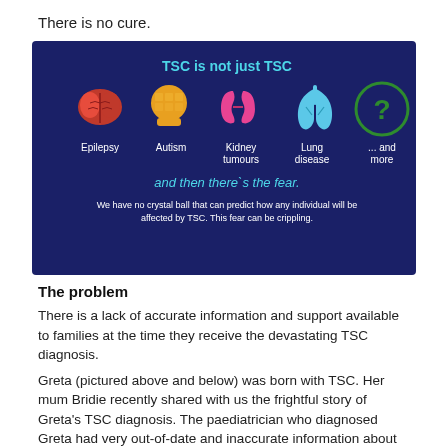There is no cure.
[Figure (infographic): Dark blue infographic titled 'TSC is not just TSC' showing five icons: a red brain (Epilepsy), an orange head silhouette (Autism), pink kidneys (Kidney tumours), blue lungs (Lung disease), and a green circle with question mark (... and more). Below reads 'and then there`s the fear.' followed by 'We have no crystal ball that can predict how any individual will be affected by TSC. This fear can be crippling.']
The problem
There is a lack of accurate information and support available to families at the time they receive the devastating TSC diagnosis.
Greta (pictured above and below) was born with TSC. Her mum Bridie recently shared with us the frightful story of Greta's TSC diagnosis. The paediatrician who diagnosed Greta had very out-of-date and inaccurate information about TSC – but her family